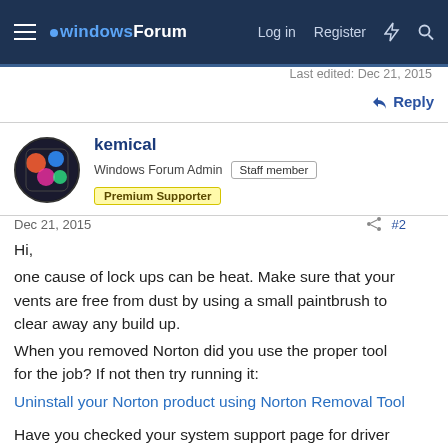windowsForum — Log in  Register
Last edited: Dec 21, 2015
↩ Reply
kemical
Windows Forum Admin  Staff member  Premium Supporter
Dec 21, 2015  #2
Hi,
one cause of lock ups can be heat. Make sure that your vents are free from dust by using a small paintbrush to clear away any build up.
When you removed Norton did you use the proper tool for the job? If not then try running it:
Uninstall your Norton product using Norton Removal Tool

Have you checked your system support page for driver updates especially network/LAN drivers?